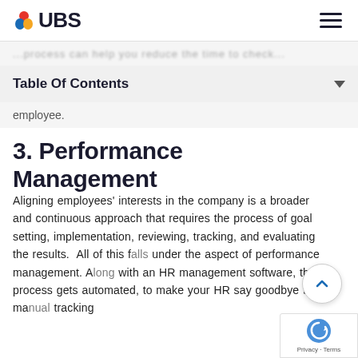UBS
...process can help you reduce the time to check...
Table Of Contents
employee.
3. Performance Management
Aligning employees' interests in the company is a broader and continuous approach that requires the process of goal setting, implementation, reviewing, tracking, and evaluating the results. All of this falls under the aspect of performance management. Along with an HR management software, the process gets automated, to make your HR say goodbye to manual tracking